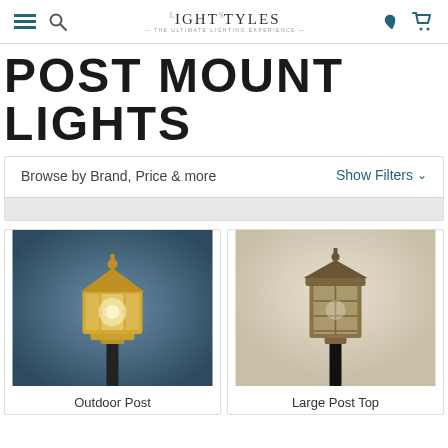LightStyles — The Ultimate Lighting Experience | Navigation bar with hamburger menu, search, logo, heart, and cart icons
POST MOUNT LIGHTS
Browse by Brand, Price & more
Show Filters ∨
[Figure (photo): Outdoor post mount light with brass/gold lantern head on a dark pole against a blue-grey background]
Outdoor Post
[Figure (photo): Large post top light fixture with bronze/aged brass lantern housing with gridded glass panels on a dark pole]
Large Post Top